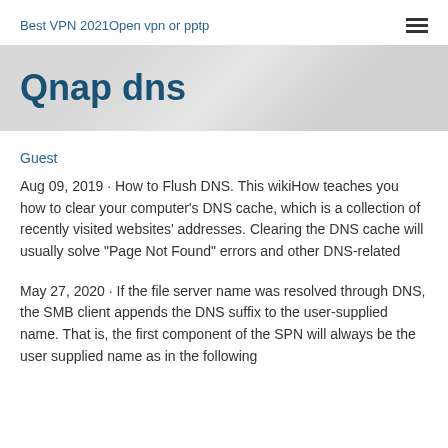Best VPN 2021Open vpn or pptp
Qnap dns
Guest
Aug 09, 2019 · How to Flush DNS. This wikiHow teaches you how to clear your computer's DNS cache, which is a collection of recently visited websites' addresses. Clearing the DNS cache will usually solve "Page Not Found" errors and other DNS-related
May 27, 2020 · If the file server name was resolved through DNS, the SMB client appends the DNS suffix to the user-supplied name. That is, the first component of the SPN will always be the user supplied name as in the following